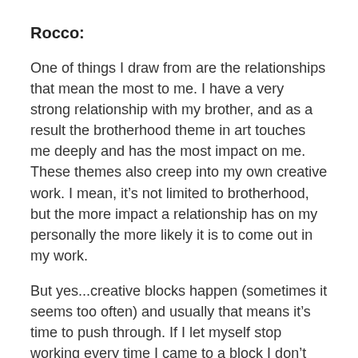Rocco:
One of things I draw from are the relationships that mean the most to me. I have a very strong relationship with my brother, and as a result the brotherhood theme in art touches me deeply and has the most impact on me. These themes also creep into my own creative work. I mean, it’s not limited to brotherhood, but the more impact a relationship has on my personally the more likely it is to come out in my work.
But yes...creative blocks happen (sometimes it seems too often) and usually that means it’s time to push through. If I let myself stop working every time I came to a block I don’t know if I would get anything done. I need to lock myself in problem solve mode